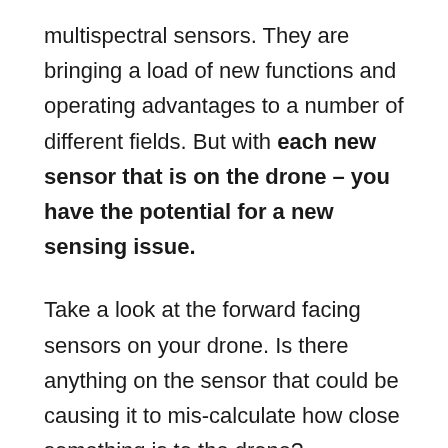multispectral sensors. They are bringing a load of new functions and operating advantages to a number of different fields. But with each new sensor that is on the drone – you have the potential for a new sensing issue.
Take a look at the forward facing sensors on your drone. Is there anything on the sensor that could be causing it to mis-calculate how close something is to the drone?
Here's how you can clean your drone: